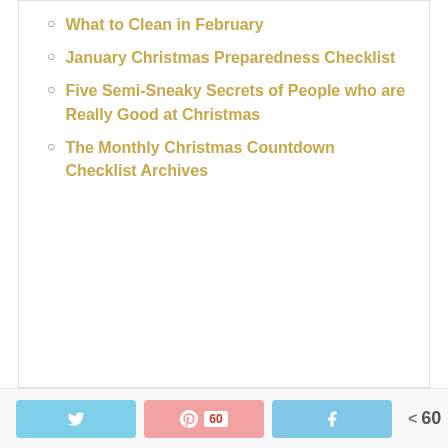What to Clean in February
January Christmas Preparedness Checklist
Five Semi-Sneaky Secrets of People who are Really Good at Christmas
The Monthly Christmas Countdown Checklist Archives
Share buttons: Twitter, Pinterest 60, Facebook | < 60